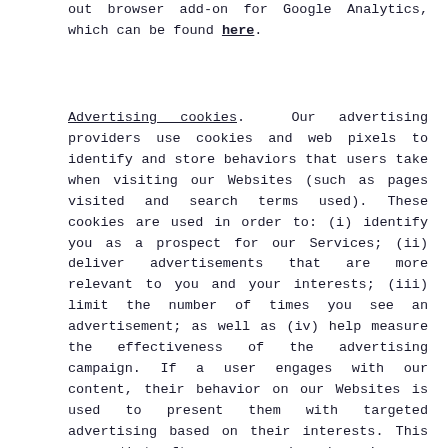out browser add-on for Google Analytics, which can be found here.
Advertising cookies.  Our advertising providers use cookies and web pixels to identify and store behaviors that users take when visiting our Websites (such as pages visited and search terms used). These cookies are used in order to: (i) identify you as a prospect for our Services; (ii) deliver advertisements that are more relevant to you and your interests; (iii) limit the number of times you see an advertisement; as well as (iv) help measure the effectiveness of the advertising campaign. If a user engages with our content, their behavior on our Websites is used to present them with targeted advertising based on their interests. This means that after you are done browsing our Websites you may see some advertisements about our Services elsewhere on the Internet. For more information on how to opt out of advertising cookies, please see Your Choices with Respect to Your Information below.